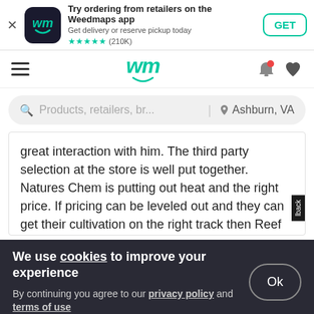[Figure (screenshot): Weedmaps app banner with icon, title 'Try ordering from retailers on the Weedmaps app', subtitle 'Get delivery or reserve pickup today', star rating (210K reviews), and GET button]
[Figure (screenshot): Weedmaps website navigation bar with hamburger menu, wm logo, bell icon, and heart icon]
[Figure (screenshot): Search bar with placeholder 'Products, retailers, br...' and location 'Ashburn, VA']
great interaction with him. The third party selection at the store is well put together. Natures Chem is putting out heat and the right price. If pricing can be leveled out and they can get their cultivation on the right track then Reef jumps to the top. Thanks again, Nick.
We use cookies to improve your experience
By continuing you agree to our privacy policy and terms of use